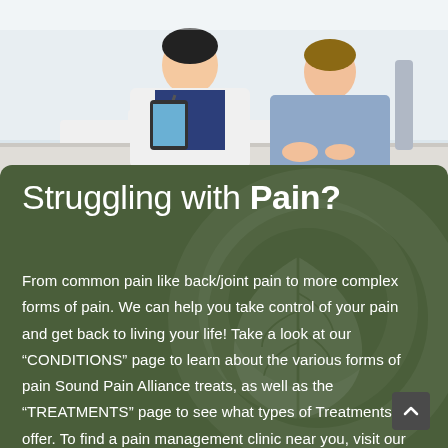[Figure (photo): Doctor in white coat with stethoscope showing tablet to a patient sitting across a desk, clinical setting with bright background]
Struggling with Pain?
From common pain like back/joint pain to more complex forms of pain. We can help you take control of your pain and get back to living your life! Take a look at our “CONDITIONS” page to learn about the various forms of pain Sound Pain Alliance treats, as well as the “TREATMENTS” page to see what types of Treatments we offer. To find a pain management clinic near you, visit our